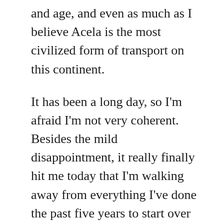and age, and even as much as I believe Acela is the most civilized form of transport on this continent.
It has been a long day, so I'm afraid I'm not very coherent. Besides the mild disappointment, it really finally hit me today that I'm walking away from everything I've done the past five years to start over from -scratch in a big, exciting, and a little scary place, and a totally different field, without much of a safety net. The plan is not to stray too far, of course- when I come out on the other side, I still want to be involved in protecting and nurturing the revolutions the internet is enabling. That might not be free